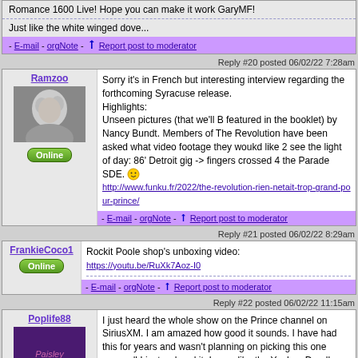Romance 1600 Live! Hope you can make it work GaryMF!
Just like the white winged dove...
Reply #20 posted 06/02/22 7:28am
Ramzoo
Sorry it's in French but interesting interview regarding the forthcoming Syracuse release. Highlights: Unseen pictures (that we'll B featured in the booklet) by Nancy Bundt. Members of The Revolution have been asked what video footage they woukd like 2 see the light of day: 86' Detroit gig -> fingers crossed 4 the Parade SDE. :) http://www.funku.fr/2022/the-revolution-rien-netait-trop-grand-pour-prince/
Reply #21 posted 06/02/22 8:29am
FrankieCoco1
Rockit Poole shop's unboxing video: https://youtu.be/RuXk7Aoz-I0
Reply #22 posted 06/02/22 11:15am
Poplife88
I just heard the whole show on the Prince channel on SiriusXM. I am amazed how good it sounds. I have had this for years and wasn't planning on picking this one up...well I just ordered it. I even like the Yankee Doodle Dandy part...the part of the show I usually skip. SOO deep and clear. A definite improvement.
We're gonna need a bigger boat